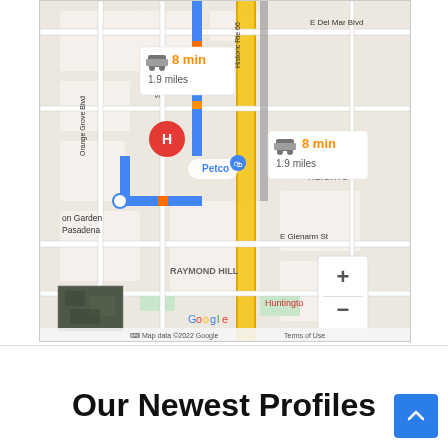[Figure (map): Google Maps screenshot showing driving directions in Pasadena area. Two route info boxes show '8 min / 1.9 miles' with car icons. Blue route line visible. Notable locations: E Del Mar Blvd, Historic Rte 66, S St John Ave, Orange Grove Blvd, Petco store, MADISON HEIGHTS, on Garden Pasadena, Raymond Hill, E Glenarm St, Huntington, Google branding, Map data ©2022 Google, Terms of Use. Zoom +/- controls visible. Satellite thumbnail inset bottom-left.]
Our Newest Profiles